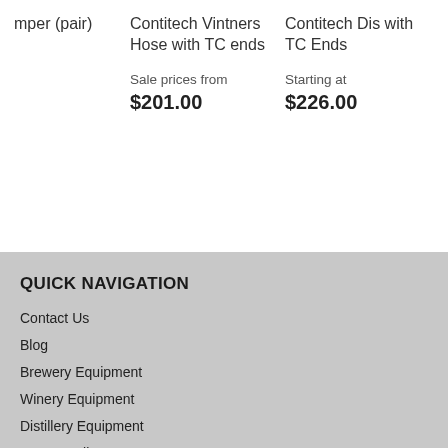mper (pair)
Contitech Vintners Hose with TC ends
Contitech Dis with TC Ends
Sale prices from
$201.00
Starting at
$226.00
QUICK NAVIGATION
Contact Us
Blog
Brewery Equipment
Winery Equipment
Distillery Equipment
Return Policy
Terms of Service